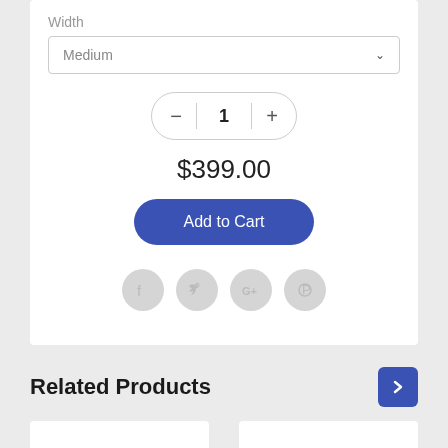Width
Medium
1
$399.00
Add to Cart
[Figure (infographic): Social share icons: Facebook, Twitter, Google+, Pinterest — circular gray buttons]
Related Products
[Figure (other): Right arrow navigation button (blue square with white chevron)]
[Figure (other): Two white product card placeholders at the bottom of the page]